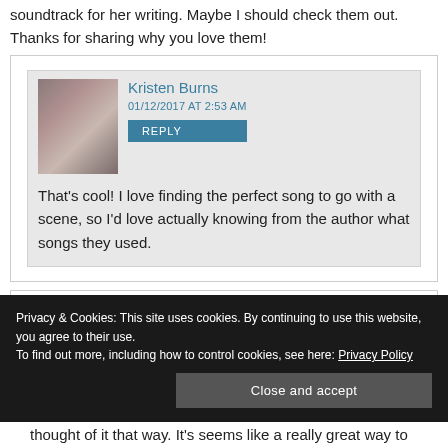soundtrack for her writing. Maybe I should check them out. Thanks for sharing why you love them!
Kristen Burns
01/12/2017 AT 2:53 AM
REPLY
That’s cool! I love finding the perfect song to go with a scene, so I’d love actually knowing from the author what songs they used.
Luna & Saturn
01/12/2017 AT 4:18 AM
Privacy & Cookies: This site uses cookies. By continuing to use this website, you agree to their use.
To find out more, including how to control cookies, see here: Privacy Policy
Close and accept
thought of it that way. It’s seems like a really great way to